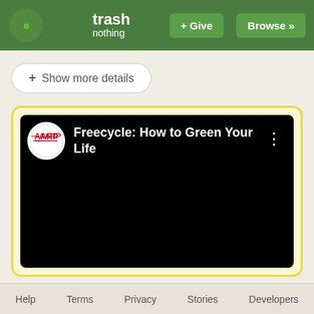trash nothing — + Give   Browse »
+ Show more details
[Figure (screenshot): Embedded YouTube-style video player with black background showing AARP logo and title 'Freecycle: How to Green Your Life' with a three-dot menu icon]
Help   Terms   Privacy   Stories   Developers